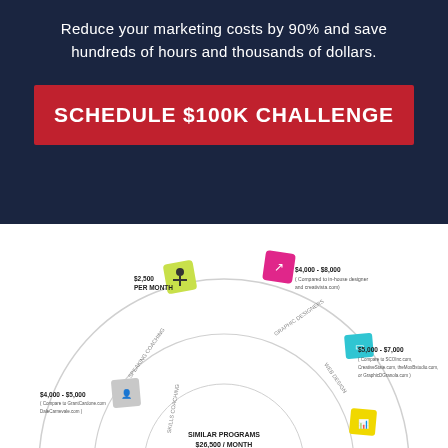Reduce your marketing costs by 90% and save hundreds of hours and thousands of dollars.
SCHEDULE $100K CHALLENGE
[Figure (infographic): Circular diagram showing 'SIMILAR PROGRAMS $26,500 / MONTH' at center with segments for strategic coaching services, pricing comparisons for various services including graphic designers ($4,000-$8,000), web design ($5,000-$7,000), skills coaching ($4,000-$5,000), and coaching/management ($2,500 per month). Icons on colorful badges surround the circle with cost comparisons to external providers.]